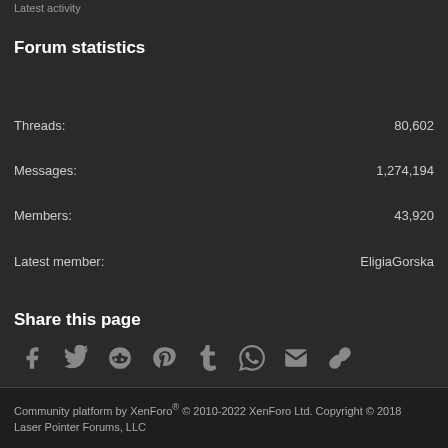Latest activity
Forum statistics
Threads: 80,602
Messages: 1,274,194
Members: 43,920
Latest member: EligiaGorska
Share this page
[Figure (infographic): Row of 8 social share icons: Facebook, Twitter, Reddit, Pinterest, Tumblr, WhatsApp, Email, Link]
Community platform by XenForo® © 2010-2022 XenForo Ltd. Copyright © 2018 Laser Pointer Forums, LLC